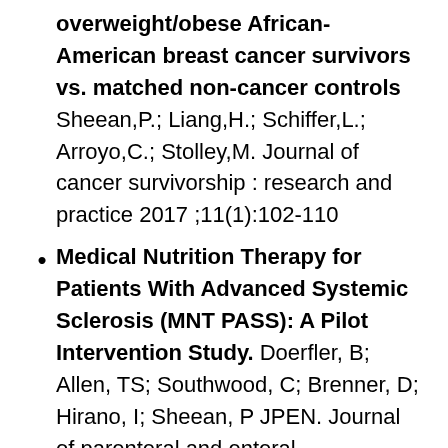overweight/obese African-American breast cancer survivors vs. matched non-cancer controls Sheean,P.; Liang,H.; Schiffer,L.; Arroyo,C.; Stolley,M. Journal of cancer survivorship : research and practice 2017 ;11(1):102-110
Medical Nutrition Therapy for Patients With Advanced Systemic Sclerosis (MNT PASS): A Pilot Intervention Study. Doerfler, B; Allen, TS; Southwood, C; Brenner, D; Hirano, I; Sheean, P JPEN. Journal of parenteral and enteral...